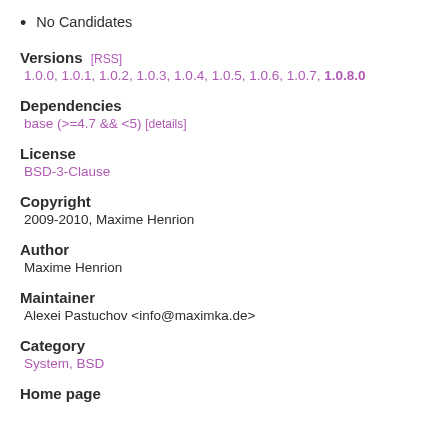No Candidates
Versions [RSS]
1.0.0, 1.0.1, 1.0.2, 1.0.3, 1.0.4, 1.0.5, 1.0.6, 1.0.7, 1.0.8.0
Dependencies
base (>=4.7 && <5) [details]
License
BSD-3-Clause
Copyright
2009-2010, Maxime Henrion
Author
Maxime Henrion
Maintainer
Alexei Pastuchov <info@maximka.de>
Category
System, BSD
Home page